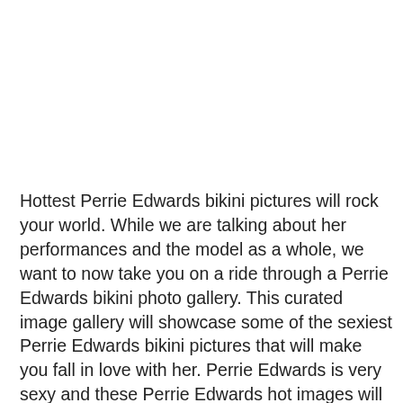Hottest Perrie Edwards bikini pictures will rock your world. While we are talking about her performances and the model as a whole, we want to now take you on a ride through a Perrie Edwards bikini photo gallery. This curated image gallery will showcase some of the sexiest Perrie Edwards bikini pictures that will make you fall in love with her. Perrie Edwards is very sexy and these Perrie Edwards hot images will leave you drooling. So sit back and enjoy a thrill-ride of Perrie Edwards big booty pictures. These Perrie Edwards big butt pictures are sure to leave you mesmerized and awestruck. In this section, enjoy